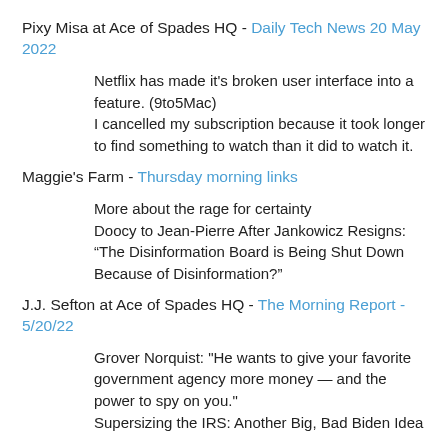Pixy Misa at Ace of Spades HQ - Daily Tech News 20 May 2022
Netflix has it's broken user interface into a feature. (9to5Mac)
I cancelled my subscription because it took longer to find something to watch than it did to watch it.
Maggie's Farm - Thursday morning links
More about the rage for certainty
Doocy to Jean-Pierre After Jankowicz Resigns: “The Disinformation Board is Being Shut Down Because of Disinformation?”
J.J. Sefton at Ace of Spades HQ - The Morning Report - 5/20/22
Grover Norquist: "He wants to give your favorite government agency more money — and the power to spy on you."
Supersizing the IRS: Another Big, Bad Biden Idea